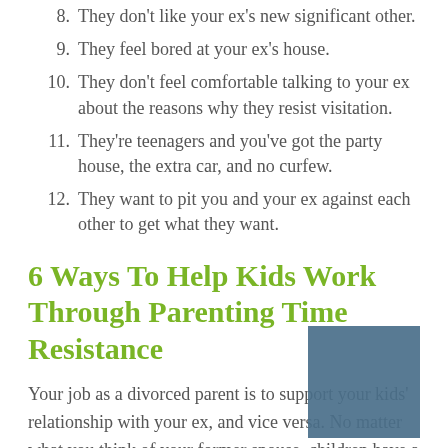8. They don't like your ex's new significant other.
9. They feel bored at your ex's house.
10. They don't feel comfortable talking to your ex about the reasons why they resist visitation.
11. They're teenagers and you've got the party house, the extra car, and no curfew.
12. They want to pit you and your ex against each other to get what they want.
6 Ways To Help Kids Work Through Parenting Time Resistance
Your job as a divorced parent is to support your kids' relationship with your ex, and vice versa. No matter what you think of your former spouse, children have a right to love both parents. Obstructing their bond with your ex can be damaging to your children and their ability to form